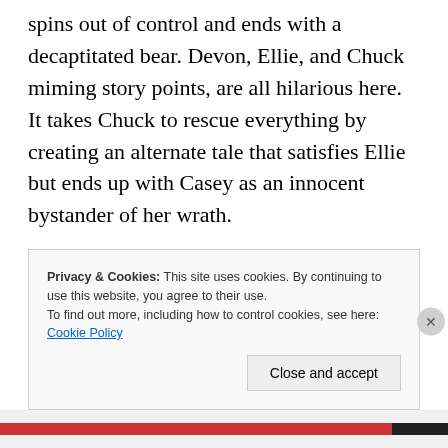spins out of control and ends with a decaptitated bear. Devon, Ellie, and Chuck miming story points, are all hilarious here. It takes Chuck to rescue everything by creating an alternate tale that satisfies Ellie but ends up with Casey as an innocent bystander of her wrath. Reluctantly Chuck agrees to use Devon to find Sydney and this allows for the opportunity for some great bits of Chuck channeling Sarah as the handler and Devon channeling Chuck as the asset
Privacy & Cookies: This site uses cookies. By continuing to use this website, you agree to their use.
To find out more, including how to control cookies, see here: Cookie Policy
Close and accept